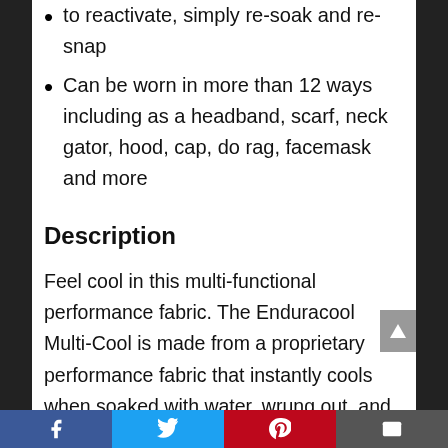to reactivate, simply re-soak and re-snap
Can be worn in more than 12 ways including as a headband, scarf, neck gator, hood, cap, do rag, facemask and more
Description
Feel cool in this multi-functional performance fabric. The Enduracool Multi-Cool is made from a proprietary performance fabric that instantly cools when soaked with water, wrung out, and then snapped in the air to